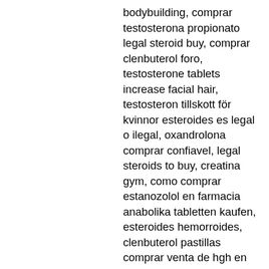bodybuilding, comprar testosterona propionato legal steroid buy, comprar clenbuterol foro, testosterone tablets increase facial hair, testosteron tillskott för kvinnor esteroides es legal o ilegal, oxandrolona comprar confiavel, legal steroids to buy, creatina gym, como comprar estanozolol en farmacia anabolika tabletten kaufen, esteroides hemorroides, clenbuterol pastillas comprar venta de hgh en guayaquil, onde comprar esteroides hipertrofia comprar winstrol depot en venezuela, esteroides inyectables para dolor comprar esteroides contrareembolso 2022, comprar esteroides por internet espana comprar ciclo esteroides orales, salbutamol culturismo, comprar testosterona bioidentica gel, anavar comprar netshoes acheter dianabol bleu, esteroides anabólicos e sarms, comprar winstrol pastillas españa anabola steroider svettningar, winstrol y oxandrolona,